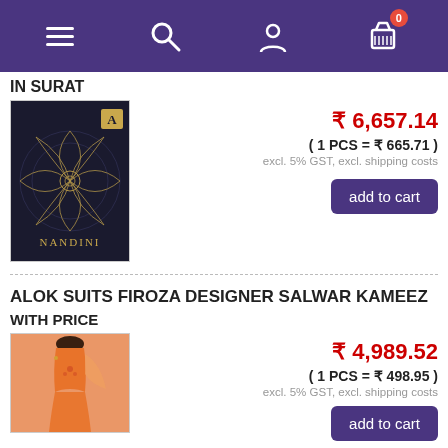Navigation bar with menu, search, account, and cart (0 items)
IN SURAT
[Figure (photo): Product image: black background with gold mandala design, text NANDINI, branded with A logo]
₹ 6,657.14
( 1 PCS = ₹ 665.71 )
excl. 5% GST, excl. shipping costs
add to cart
ALOK SUITS FIROZA DESIGNER SALWAR KAMEEZ
WITH PRICE
[Figure (photo): Product image: woman wearing peach/orange salwar kameez]
₹ 4,989.52
( 1 PCS = ₹ 498.95 )
excl. 5% GST, excl. shipping costs
add to cart